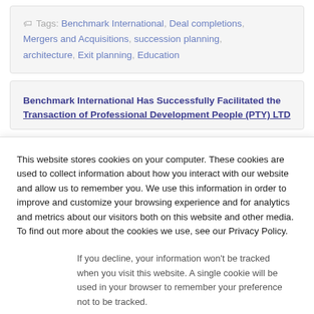Tags: Benchmark International, Deal completions, Mergers and Acquisitions, succession planning, architecture, Exit planning, Education
Benchmark International Has Successfully Facilitated the Transaction of Professional Development People (PTY) LTD
This website stores cookies on your computer. These cookies are used to collect information about how you interact with our website and allow us to remember you. We use this information in order to improve and customize your browsing experience and for analytics and metrics about our visitors both on this website and other media. To find out more about the cookies we use, see our Privacy Policy.
If you decline, your information won't be tracked when you visit this website. A single cookie will be used in your browser to remember your preference not to be tracked.